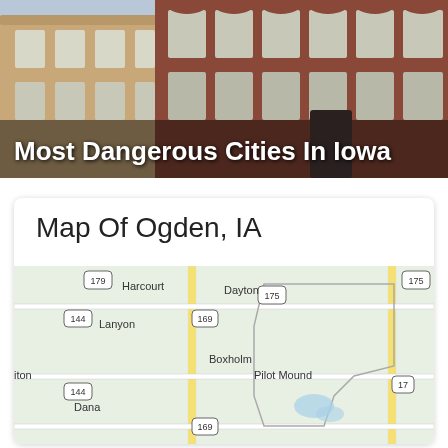[Figure (photo): Photograph of brick rowhouse buildings with text overlay reading 'Most Dangerous Cities In Iowa']
Most Dangerous Cities In Iowa
Map Of Ogden, IA
[Figure (map): Google Maps style map of Ogden, IA area showing surrounding towns: Harcourt, Dayton, Lanyon, Boxholm, Pilot Mound, Dana, and route numbers 175, 169, 144, 17]